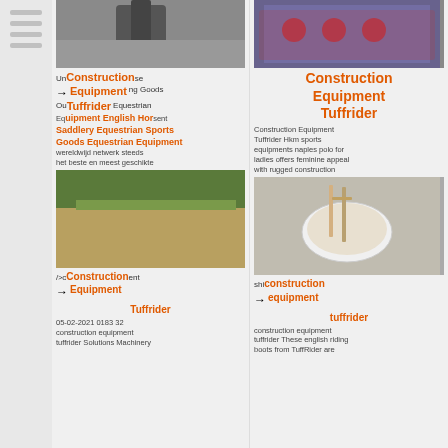[Figure (photo): Construction equipment photo top left]
[Figure (photo): Construction equipment electronics photo top right]
Construction Equipment Tuffrider
Uncategorised Sporting Goods Outdoor Equipment Equestrian Equipment English Equestrian Saddlery Equestrian Sports Goods Equestrian Equipment wereldwijd netwerk steeds het beste en meest geschikte
Construction Equipment Tuffrider
Construction Equipment Tuffrider Hkm sports equipments naples polo for ladies offers feminine appeal with rugged construction
[Figure (photo): Construction site landscape photo bottom left]
[Figure (photo): Bowl with chopsticks photo bottom right]
Construction Equipment Tuffrider
05-02-2021 0183 32 construction equipment tuffrider Solutions Machinery
construction equipment tuffrider
construction equipment tuffrider These english riding boots from TuffRider are